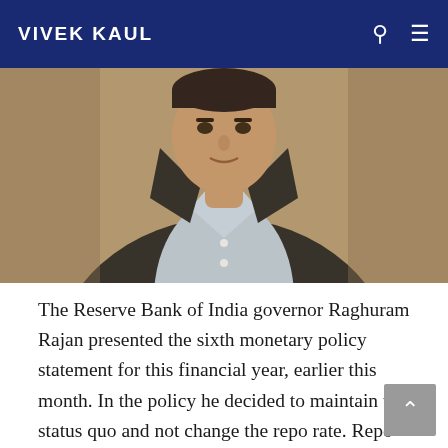VIVEK KAUL
[Figure (photo): Photo of Raghuram Rajan, RBI Governor, wearing a dark blazer and light blue shirt, cropped to show head and upper torso against a blurred background.]
The Reserve Bank of India governor Raghuram Rajan presented the sixth monetary policy statement for this financial year, earlier this month. In the policy he decided to maintain the status quo and not change the repo rate. Repo rate is the rate at which RBI lends to banks, which acts as a sort of a benchmark to the